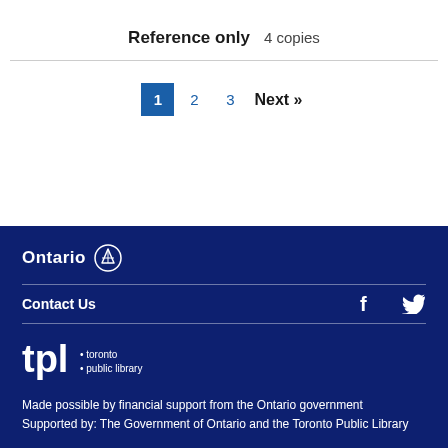Reference only   4  copies
1  2  3  Next »
Ontario [logo] | Contact Us | [Facebook] [Twitter] | tpl: toronto public library | Made possible by financial support from the Ontario government | Supported by: The Government of Ontario and the Toronto Public Library